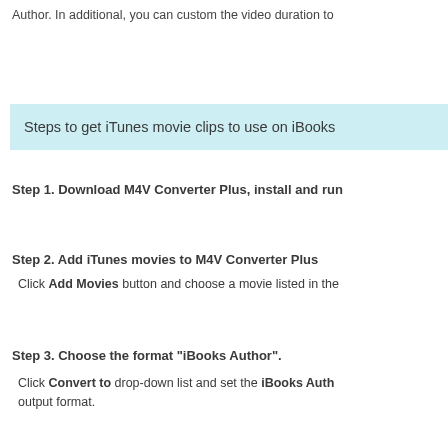Author. In additional, you can custom the video duration to
Steps to get iTunes movie clips to use on iBooks
Step 1. Download M4V Converter Plus, install and run
Step 2. Add iTunes movies to M4V Converter Plus
Click Add Movies button and choose a movie listed in the
Step 3. Choose the format "iBooks Author".
Click Convert to drop-down list and set the iBooks Author output format.